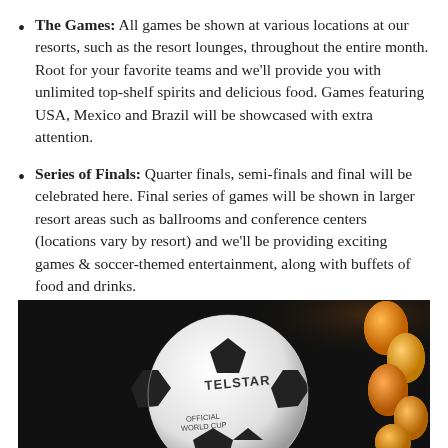The Games: All games be shown at various locations at our resorts, such as the resort lounges, throughout the entire month. Root for your favorite teams and we'll provide you with unlimited top-shelf spirits and delicious food. Games featuring USA, Mexico and Brazil will be showcased with extra attention.
Series of Finals: Quarter finals, semi-finals and final will be celebrated here. Final series of games will be shown in larger resort areas such as ballrooms and conference centers (locations vary by resort) and we'll be providing exciting games & soccer-themed entertainment, along with buffets of food and drinks.
[Figure (photo): Close-up photo of a Telstar soccer ball (official World Cup ball) on a dark background, with orange balloons visible on the right side. The ball shows 'TELSTAR' text and 'OFFICIAL WORLD CUP' text.]